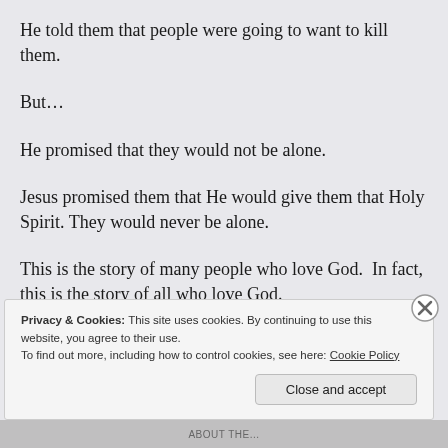He told them that people were going to want to kill them.
But…
He promised that they would not be alone.
Jesus promised them that He would give them that Holy Spirit. They would never be alone.
This is the story of many people who love God.  In fact, this is the story of all who love God.
Moses walked with God.
Privacy & Cookies: This site uses cookies. By continuing to use this website, you agree to their use.
To find out more, including how to control cookies, see here: Cookie Policy
Close and accept